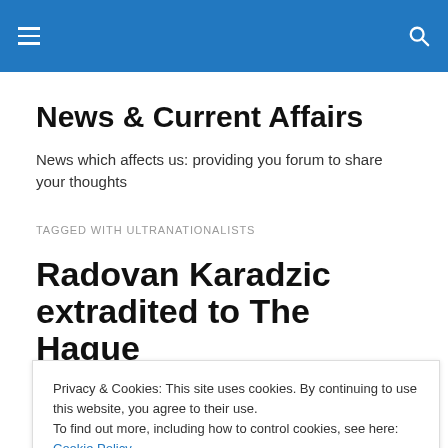≡  🔍
News & Current Affairs
News which affects us: providing you forum to share your thoughts
TAGGED WITH ULTRANATIONALISTS
Radovan Karadzic extradited to The Hague
Privacy & Cookies: This site uses cookies. By continuing to use this website, you agree to their use.
To find out more, including how to control cookies, see here: Cookie Policy
Close and accept
Hague